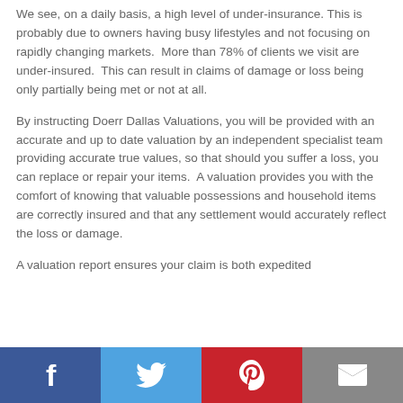We see, on a daily basis, a high level of under-insurance. This is probably due to owners having busy lifestyles and not focusing on rapidly changing markets. More than 78% of clients we visit are under-insured. This can result in claims of damage or loss being only partially being met or not at all.
By instructing Doerr Dallas Valuations, you will be provided with an accurate and up to date valuation by an independent specialist team providing accurate true values, so that should you suffer a loss, you can replace or repair your items. A valuation provides you with the comfort of knowing that valuable possessions and household items are correctly insured and that any settlement would accurately reflect the loss or damage.
A valuation report ensures your claim is both expedited
[Figure (infographic): Social media sharing bar with four buttons: Facebook (blue), Twitter (light blue), Pinterest (red), Email (grey)]